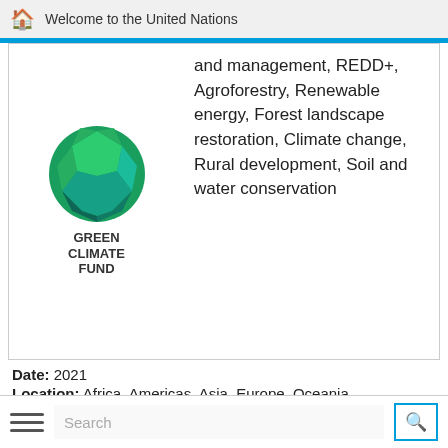Welcome to the United Nations
[Figure (logo): Green Climate Fund logo with globe icon and text GREEN CLIMATE FUND]
and management, REDD+, Agroforestry, Renewable energy, Forest landscape restoration, Climate change, Rural development, Soil and water conservation
Date: 2021
Location: Africa, Americas, Asia, Europe, Oceania
Type: Financing opportunities
[Figure (logo): BioCarbon Fund Initiative for Sustainable Forest Landscapes logo with tree, sun, and leaf circle]
BioCarbon Fund Initiative for Sustainable Forest Landscapes
Topic: Climate change, REDD+, Sustainable land use, Forest conservation and management